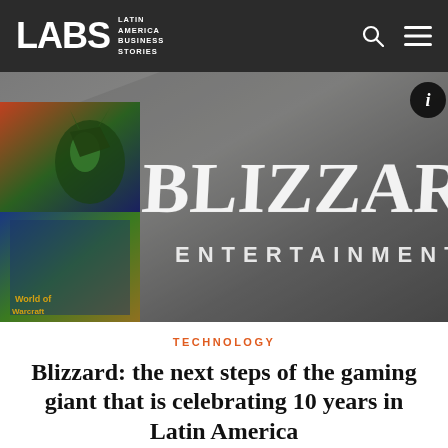LABS Latin America Business Stories
[Figure (photo): Blizzard Entertainment logo sign on a dark grey wall, with game cover art panels visible on the left side. A circular info badge icon appears in the top right of the image.]
TECHNOLOGY
Blizzard: the next steps of the gaming giant that is celebrating 10 years in Latin America